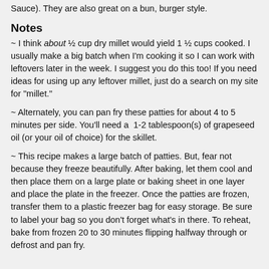Sauce). They are also great on a bun, burger style.
Notes
~ I think about ½ cup dry millet would yield 1 ½ cups cooked. I usually make a big batch when I'm cooking it so I can work with leftovers later in the week. I suggest you do this too! If you need ideas for using up any leftover millet, just do a search on my site for "millet."
~ Alternately, you can pan fry these patties for about 4 to 5 minutes per side. You'll need a 1-2 tablespoon(s) of grapeseed oil (or your oil of choice) for the skillet.
~ This recipe makes a large batch of patties. But, fear not because they freeze beautifully. After baking, let them cool and then place them on a large plate or baking sheet in one layer and place the plate in the freezer. Once the patties are frozen, transfer them to a plastic freezer bag for easy storage. Be sure to label your bag so you don't forget what's in there. To reheat, bake from frozen 20 to 30 minutes flipping halfway through or defrost and pan fry.